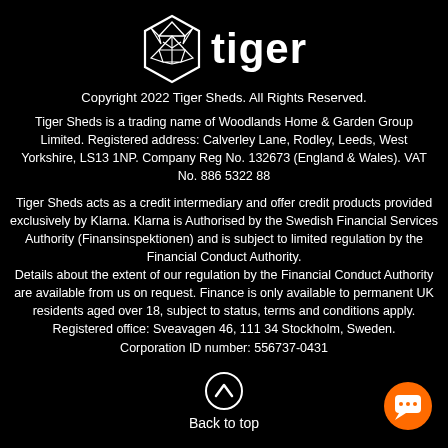[Figure (logo): Tiger Sheds logo: hexagonal geometric tiger face icon in white on black, with 'tiger' text in bold white]
Copyright 2022 Tiger Sheds. All Rights Reserved.
Tiger Sheds is a trading name of Woodlands Home & Garden Group Limited. Registered address: Calverley Lane, Rodley, Leeds, West Yorkshire, LS13 1NP. Company Reg No. 132673 (England & Wales). VAT No. 886 5322 88
Tiger Sheds acts as a credit intermediary and offer credit products provided exclusively by Klarna. Klarna is Authorised by the Swedish Financial Services Authority (Finansinspektionen) and is subject to limited regulation by the Financial Conduct Authority.
Details about the extent of our regulation by the Financial Conduct Authority are available from us on request. Finance is only available to permanent UK residents aged over 18, subject to status, terms and conditions apply.
Registered office: Sveavagen 46, 111 34 Stockholm, Sweden.
Corporation ID number: 556737-0431
[Figure (illustration): Circle with upward chevron arrow icon (back to top button)]
Back to top
[Figure (illustration): Orange circular chat/message button in bottom right corner]